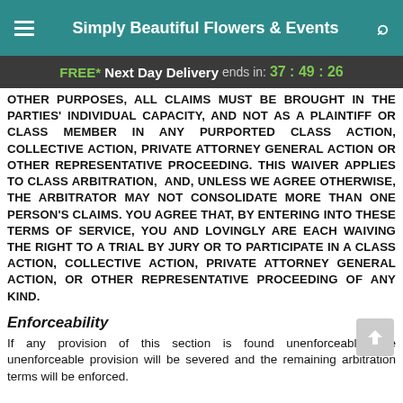Simply Beautiful Flowers & Events
FREE* Next Day Delivery ends in: 37 : 49 : 26
OTHER PURPOSES, ALL CLAIMS MUST BE BROUGHT IN THE PARTIES' INDIVIDUAL CAPACITY, AND NOT AS A PLAINTIFF OR CLASS MEMBER IN ANY PURPORTED CLASS ACTION, COLLECTIVE ACTION, PRIVATE ATTORNEY GENERAL ACTION OR OTHER REPRESENTATIVE PROCEEDING. THIS WAIVER APPLIES TO CLASS ARBITRATION, AND, UNLESS WE AGREE OTHERWISE, THE ARBITRATOR MAY NOT CONSOLIDATE MORE THAN ONE PERSON'S CLAIMS. YOU AGREE THAT, BY ENTERING INTO THESE TERMS OF SERVICE, YOU AND LOVINGLY ARE EACH WAIVING THE RIGHT TO A TRIAL BY JURY OR TO PARTICIPATE IN A CLASS ACTION, COLLECTIVE ACTION, PRIVATE ATTORNEY GENERAL ACTION, OR OTHER REPRESENTATIVE PROCEEDING OF ANY KIND.
Enforceability
If any provision of this section is found unenforceable, the unenforceable provision will be severed and the remaining arbitration terms will be enforced.